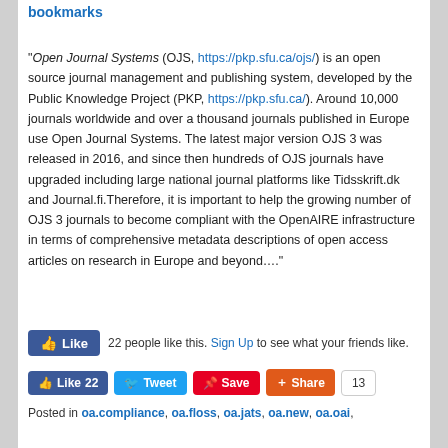Posted on April 24, 2020 by pkp.admin | 1 bookmarks
“Open Journal Systems (OJS, https://pkp.sfu.ca/ojs/) is an open source journal management and publishing system, developed by the Public Knowledge Project (PKP, https://pkp.sfu.ca/). Around 10,000 journals worldwide and over a thousand journals published in Europe use Open Journal Systems. The latest major version OJS 3 was released in 2016, and since then hundreds of OJS journals have upgraded including large national journal platforms like Tidsskrift.dk and Journal.fi.Therefore, it is important to help the growing number of OJS 3 journals to become compliant with the OpenAIRE infrastructure in terms of comprehensive metadata descriptions of open access articles on research in Europe and beyond….”
22 people like this. Sign Up to see what your friends like.
Like 22 | Tweet | Save | Share | 13
Posted in oa.compliance, oa.floss, oa.jats, oa.new, oa.oai,